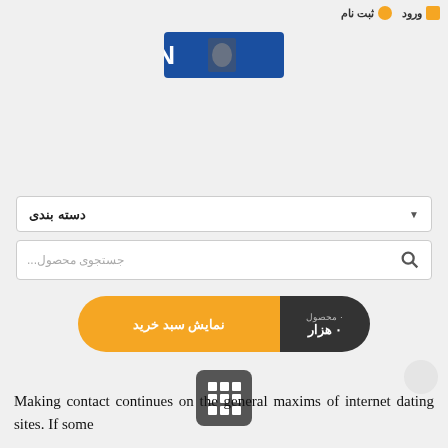ورود  ثبت نام
[Figure (logo): IXN or similar logo in blue with stylized text on dark background]
دسته بندی
جستجوی محصول...
نمایش سبد خرید  ۰ محصول  ۰ هزار
[Figure (other): Grid/table icon button in dark gray rounded square]
Making contact continues on the general maxims of internet dating sites. If some